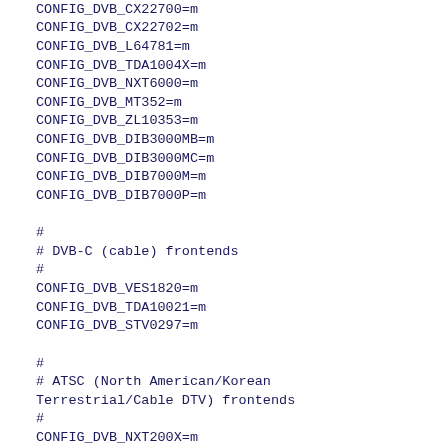CONFIG_DVB_SP887X=m
CONFIG_DVB_CX22700=m
CONFIG_DVB_CX22702=m
CONFIG_DVB_L64781=m
CONFIG_DVB_TDA1004X=m
CONFIG_DVB_NXT6000=m
CONFIG_DVB_MT352=m
CONFIG_DVB_ZL10353=m
CONFIG_DVB_DIB3000MB=m
CONFIG_DVB_DIB3000MC=m
CONFIG_DVB_DIB7000M=m
CONFIG_DVB_DIB7000P=m

#
# DVB-C (cable) frontends
#
CONFIG_DVB_VES1820=m
CONFIG_DVB_TDA10021=m
CONFIG_DVB_STV0297=m

#
# ATSC (North American/Korean Terrestrial/Cable DTV) frontends
#
CONFIG_DVB_NXT200X=m
CONFIG_DVB_OR51211=m
CONFIG_DVB_OR51132=m
CONFIG_DVB_BCM3510=m
CONFIG_DVB_LGDT330X=m